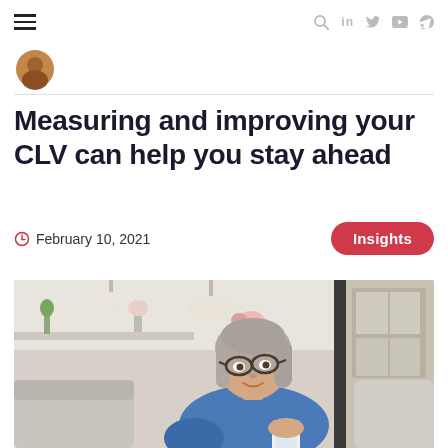≡  🔍  in  🐦  ▶  ⊃
[Figure (photo): Circular avatar/profile photo of a person, partially visible at top]
Measuring and improving your CLV can help you stay ahead
February 10, 2021
Insights
[Figure (photo): Middle-aged woman with gray hair and glasses, wearing a blue shirt, sitting on a couch and looking at a smartphone, in a bright home interior setting]